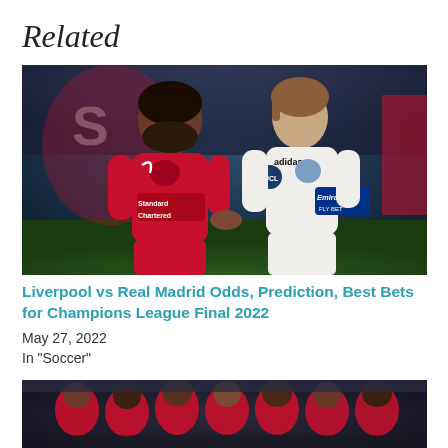Related
[Figure (photo): Mohamed Salah in Liverpool red kit and Luka Modric in Real Madrid white kit standing on a football pitch, Champions League match setting]
Liverpool vs Real Madrid Odds, Prediction, Best Bets for Champions League Final 2022
May 27, 2022
In "Soccer"
[Figure (photo): Liverpool players celebrating or grouped together on the pitch, wearing red kits, crowd in background]